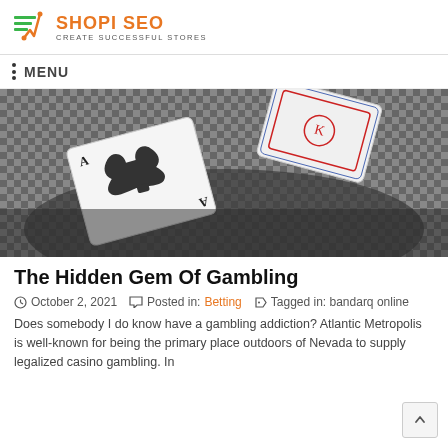SHOPI SEO — CREATE SUCCESSFUL STORES
MENU
[Figure (photo): Black and white photo of playing cards including the Ace of Spades on a dark background with a checkered pattern]
The Hidden Gem Of Gambling
October 2, 2021   Posted in: Betting   Tagged in: bandarq online
Does somebody I do know have a gambling addiction? Atlantic Metropolis is well-known for being the primary place outdoors of Nevada to supply legalized casino gambling. In